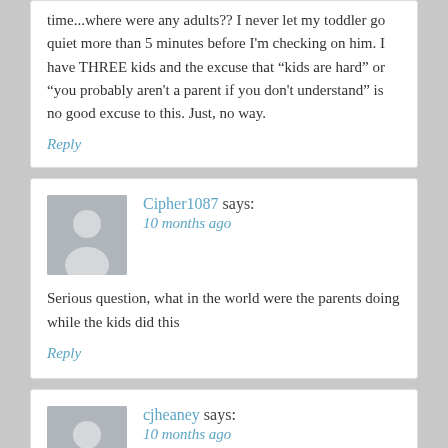time...where were any adults?? I never let my toddler go quiet more than 5 minutes before I'm checking on him. I have THREE kids and the excuse that "kids are hard" or "you probably aren't a parent if you don't understand" is no good excuse to this. Just, no way.
Reply
Cipher1087 says: 10 months ago
Serious question, what in the world were the parents doing while the kids did this
Reply
cjheaney says: 10 months ago
That's definitely a spanking offense. I don't